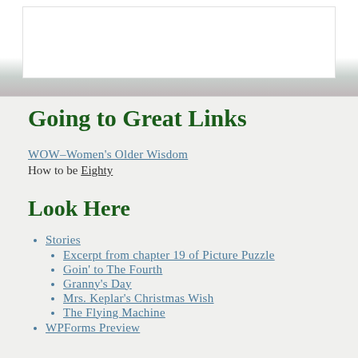[Figure (other): Page header area with white box/banner and blurred gradient background]
Going to Great Links
WOW–Women's Older Wisdom
How to be Eighty
Look Here
Stories
Excerpt from chapter 19 of Picture Puzzle
Goin' to The Fourth
Granny's Day
Mrs. Keplar's Christmas Wish
The Flying Machine
WPForms Preview